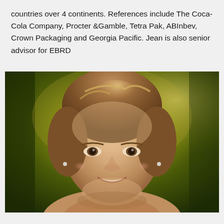countries over 4 continents. References include The Coca-Cola Company, Procter &Gamble, Tetra Pak, ABInbev, Crown Packaging and Georgia Pacific. Jean is also senior advisor for EBRD
[Figure (photo): Portrait photo of a woman with short brown hair, smiling, against a blurred green and yellow outdoor background.]